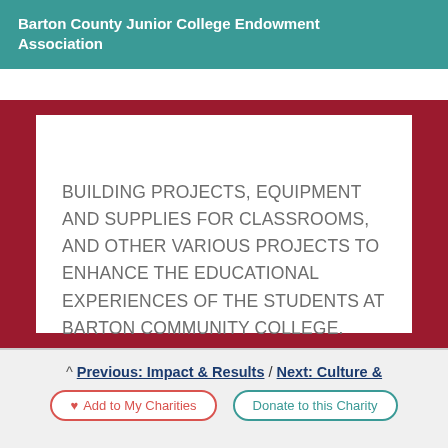Barton County Junior College Endowment Association
BUILDING PROJECTS, EQUIPMENT AND SUPPLIES FOR CLASSROOMS, AND OTHER VARIOUS PROJECTS TO ENHANCE THE EDUCATIONAL EXPERIENCES OF THE STUDENTS AT BARTON COMMUNITY COLLEGE.
^ Previous: Impact & Results / Next: Culture &
Add to My Charities   Donate to this Charity